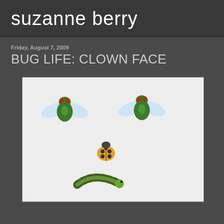suzanne berry
Friday, August 7, 2009
BUG LIFE: CLOWN FACE
[Figure (photo): Illustration showing bugs arranged as a clown face: two green flies at top as eyes, a yellow ladybug in the middle as a nose, and a green caterpillar at the bottom curved like a smile, all on a white/light grey background.]